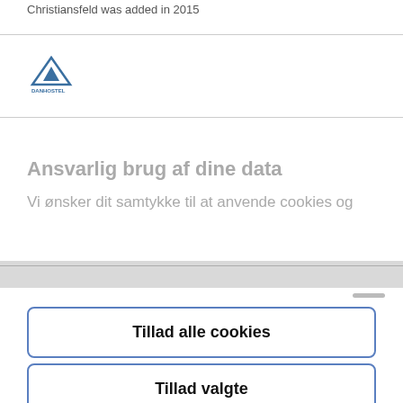Christiansfeld was added in 2015
[Figure (logo): DanHostel logo — blue triangle/mountain icon above text]
Ansvarlig brug af dine data
Vi ønsker dit samtykke til at anvende cookies og
Tillad alle cookies
Tillad valgte
Kun nødvendige cookies
Powered by Cookiebot by Usercentrics